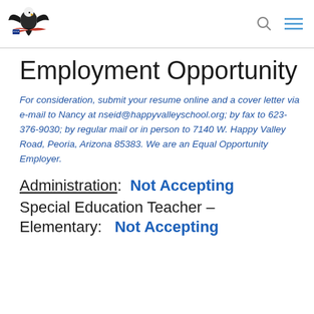[School logo with eagle and navigation icons]
Employment Opportunity
For consideration, submit your resume online and a cover letter via e-mail to Nancy at nseid@happyvalleyschool.org; by fax to 623-376-9030; by regular mail or in person to 7140 W. Happy Valley Road, Peoria, Arizona 85383. We are an Equal Opportunity Employer.
Administration:  Not Accepting
Special Education Teacher – Elementary:   Not Accepting